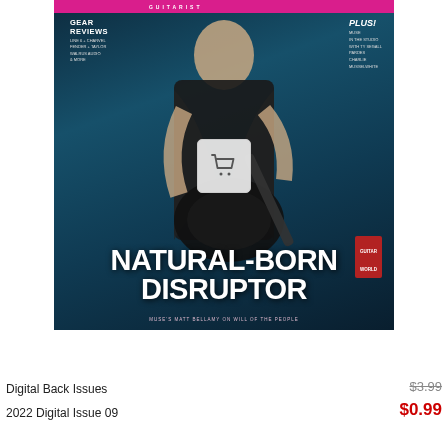[Figure (illustration): Guitar magazine cover featuring a man in a black leather jacket playing an electric guitar against a dark teal background. Cover lines read: GEAR REVIEWS - LINE 6 + CHARVEL, FENDER + TAYLOR, WALRUS AUDIO & MORE. PLUS! MUSE IN THE STUDIO WITH TY SEGALL, PARDES, CHARLIE MUSSELWHITE. Large bold text at bottom: NATURAL-BORN DISRUPTOR. Subtitle: MUSE'S MATT BELLAMY ON WILL OF THE PEOPLE. Shopping cart icon overlay in center.]
Digital Back Issues
2022 Digital Issue 09
$3.99
$0.99